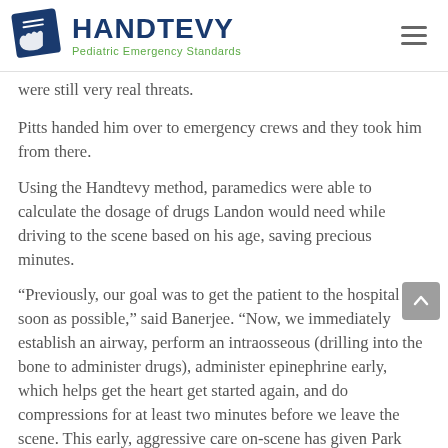HANDTEVY Pediatric Emergency Standards
were still very real threats.
Pitts handed him over to emergency crews and they took him from there.
Using the Handtevy method, paramedics were able to calculate the dosage of drugs Landon would need while driving to the scene based on his age, saving precious minutes.
"Previously, our goal was to get the patient to the hospital as soon as possible," said Banerjee. "Now, we immediately establish an airway, perform an intraosseous (drilling into the bone to administer drugs), administer epinephrine early, which helps get the heart get started again, and do compressions for at least two minutes before we leave the scene. This early, aggressive care on-scene has given Park County Fire Rescue...